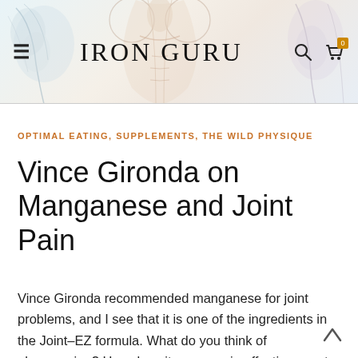IRON GURU
OPTIMAL EATING, SUPPLEMENTS, THE WILD PHYSIQUE
Vince Gironda on Manganese and Joint Pain
Vince Gironda recommended manganese for joint problems, and I see that it is one of the ingredients in the Joint-EZ formula. What do you think of glucosamine? How does it compare in effectiveness to manganese? Thanks again for your advice.